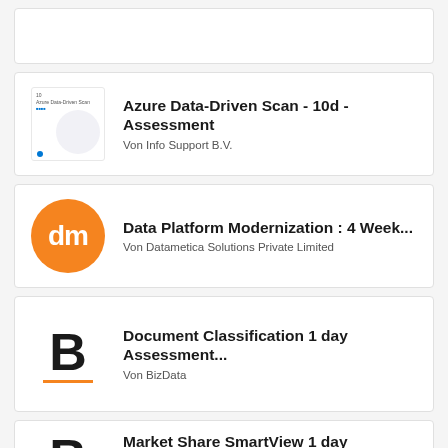Azure Data-Driven Scan - 10d - Assessment | Von Info Support B.V.
Data Platform Modernization : 4 Week... | Von Datametica Solutions Private Limited
Document Classification 1 day Assessment... | Von BizData
Market Share SmartView 1 day Assessment... | Von BizData